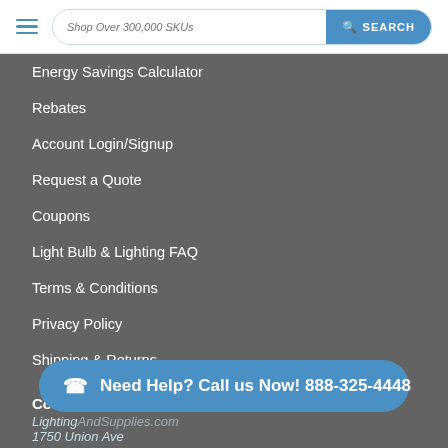Shop Over 300,000 SKUs  SEARCH
Energy Savings Calculator
Rebates
Account Login/Signup
Request a Quote
Coupons
Light Bulb & Lighting FAQ
Terms & Conditions
Privacy Policy
Shipping & Returns
Top Commercial & Residential Lighting Manufacturers in the USA
Co...
LightingAndSupplies.com
1750 Union Ave
Need Help? Call us Now! 888-325-4448